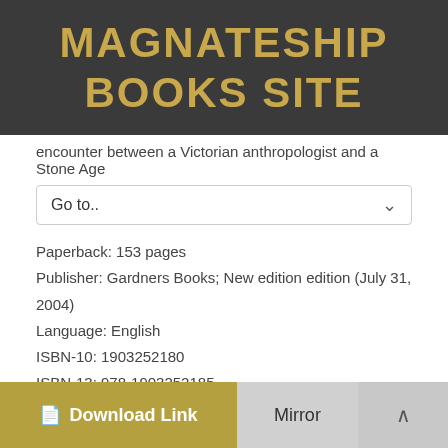MAGNATESHIP BOOKS SITE
encounter between a Victorian anthropologist and a Stone Age
Go to..
Paperback: 153 pages
Publisher: Gardners Books; New edition edition (July 31, 2004)
Language: English
ISBN-10: 1903252180
ISBN-13: 978-1903252185
Product Dimensions: 5.3 x 0.5 x 8.5 inches
Amazon Rank: 3174194
Format: PDF Text djvu ebook
Download Link
Mirror